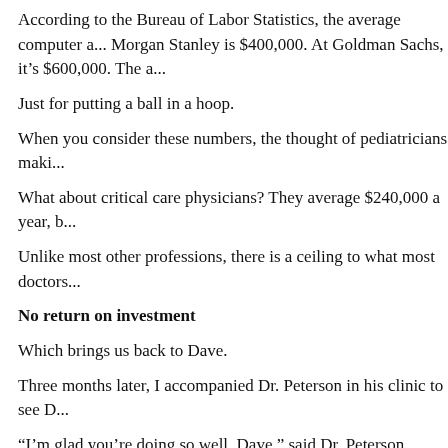According to the Bureau of Labor Statistics, the average computer a... Morgan Stanley is $400,000. At Goldman Sachs, it's $600,000. The a...
Just for putting a ball in a hoop.
When you consider these numbers, the thought of pediatricians maki...
What about critical care physicians? They average $240,000 a year, b...
Unlike most other professions, there is a ceiling to what most doctors...
No return on investment
Which brings us back to Dave.
Three months later, I accompanied Dr. Peterson in his clinic to see D...
“I’m glad you’re doing so well, Dave,” said Dr. Peterson.
“Yeah, I’m really happy with how things have turned out,” he replied...
“So Dave, this is a little awkward for me, but I need to ask you some...
“Yeah, so?”
“Well, um,” Dr. Peterson stuttered. “We never received it from you.”